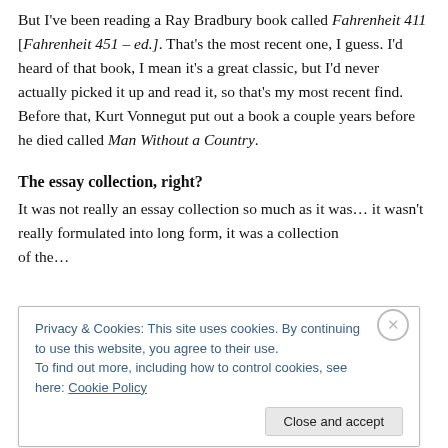But I've been reading a Ray Bradbury book called Fahrenheit 411 [Fahrenheit 451 – ed.]. That's the most recent one, I guess. I'd heard of that book, I mean it's a great classic, but I'd never actually picked it up and read it, so that's my most recent find. Before that, Kurt Vonnegut put out a book a couple years before he died called Man Without a Country.
The essay collection, right?
It was not really an essay collection so much as it was… it wasn't really formulated into long form, it was a collection of the…
Privacy & Cookies: This site uses cookies. By continuing to use this website, you agree to their use.
To find out more, including how to control cookies, see here: Cookie Policy